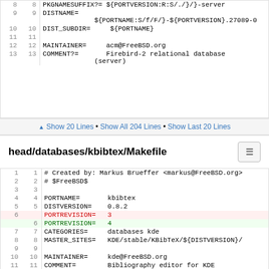Code block showing lines 8-13 of a Makefile with PKGNAMESUFFIX, DISTNAME, DIST_SUBDIR, MAINTAINER, COMMENT fields
▲ Show 20 Lines • Show All 204 Lines • Show Last 20 Lines
head/databases/kbibtex/Makefile
Code block showing lines 1-11 of head/databases/kbibtex/Makefile